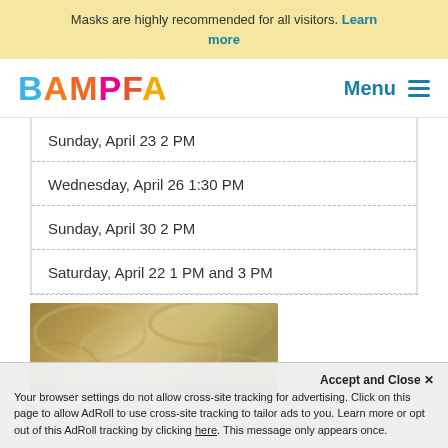Masks are highly recommended for all visitors. Learn more
BAMPFA
Sunday, April 23 2 PM
Wednesday, April 26 1:30 PM
Sunday, April 30 2 PM
Saturday, April 22 1 PM and 3 PM
[Figure (photo): Hippie Movement exhibition image thumbnail]
Accept and Close ×
Your browser settings do not allow cross-site tracking for advertising. Click on this page to allow AdRoll to use cross-site tracking to tailor ads to you. Learn more or opt out of this AdRoll tracking by clicking here. This message only appears once.